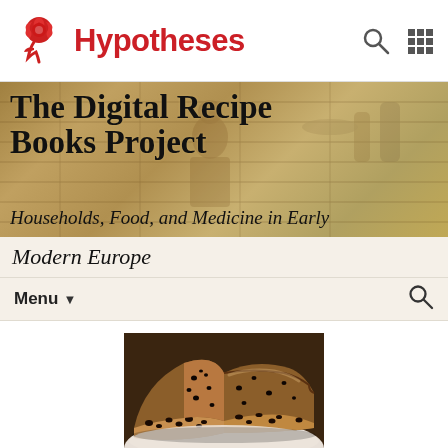Hypotheses
The Digital Recipe Books Project
Households, Food, and Medicine in Early Modern Europe
Menu
[Figure (photo): Close-up photo of sliced fruit cake or bread with dark currants/raisins on a white plate]